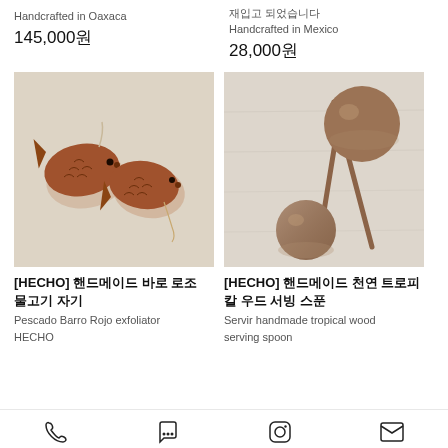Handcrafted in Oaxaca
145,000원
재입고 되었습니다
Handcrafted in Mexico
28,000원
[Figure (photo): Two terracotta fish-shaped earrings with scale texture, one with a hook, on a light background. Pescado Barro Rojo exfoliator by HECHO.]
[HECHO] 핸드메이드 바로 로조 물고기 자기
Pescado Barro Rojo exfoliator
HECHO
[Figure (photo): Two wooden serving spoons with round ball-shaped heads and long handles, made from tropical wood, on a light linen background.]
[HECHO] 핸드메이드 천연 트로피칼 우드 서빙 스푼
Servir handmade tropical wood serving spoon
Phone | Chat | Instagram | Email